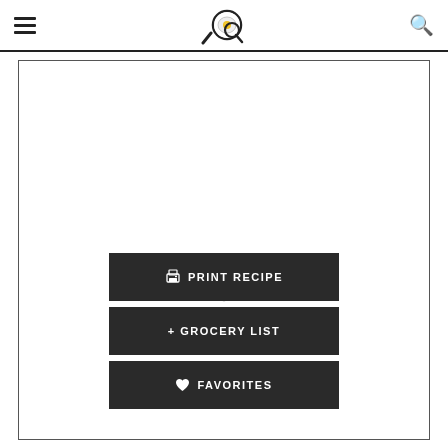Navigation header with hamburger menu, logo (frying pan icon), and search icon
[Figure (other): Loading spinner (circular dashed spinner) centered in white content area]
PRINT RECIPE
+ GROCERY LIST
♥ FAVORITES